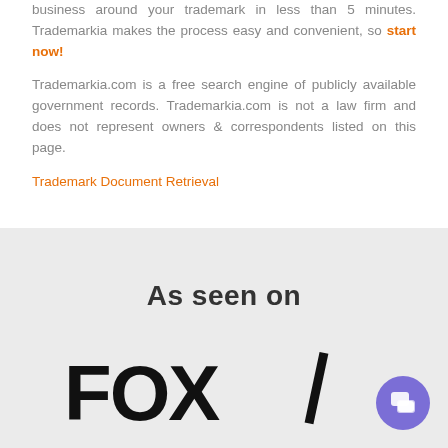business around your trademark in less than 5 minutes. Trademarkia makes the process easy and convenient, so start now!
Trademarkia.com is a free search engine of publicly available government records. Trademarkia.com is not a law firm and does not represent owners & correspondents listed on this page.
Trademark Document Retrieval
As seen on
[Figure (logo): FOX News logo with diagonal bar]